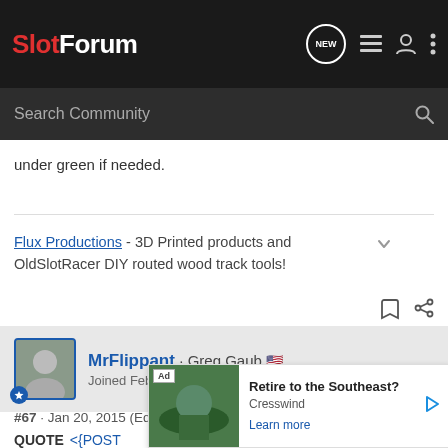SlotForum
under green if needed.
Flux Productions - 3D Printed products and OldSlotRacer DIY routed wood track tools!
MrFlippant · Greg Gaub
Joined Feb 9, 2009 · 16,861 Posts
#67 · Jan 20, 2015 (Edited by Moderator)
QUOTE
<{POST